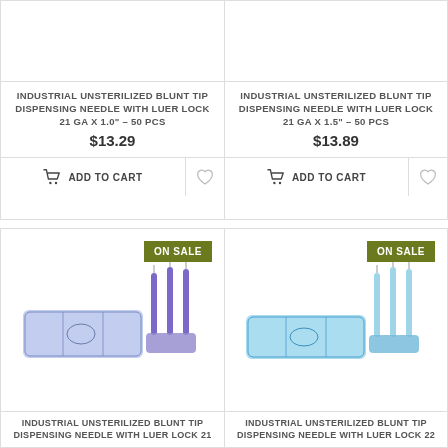[Figure (photo): Industrial unsterilized blunt tip dispensing needle product with luer lock 21 GA x 1.0" - top card, image cropped at top]
INDUSTRIAL UNSTERILIZED BLUNT TIP DISPENSING NEEDLE WITH LUER LOCK 21 GA X 1.0" – 50 PCS
$13.29
ADD TO CART
[Figure (photo): Industrial unsterilized blunt tip dispensing needle product with luer lock 21 GA x 1.5" - top card, image cropped at top]
INDUSTRIAL UNSTERILIZED BLUNT TIP DISPENSING NEEDLE WITH LUER LOCK 21 GA X 1.5" – 50 PCS
$13.89
ADD TO CART
[Figure (photo): Industrial unsterilized blunt tip dispensing needle with luer lock 21 GA in blue/purple plastic case with three needles standing upright, ON SALE badge]
ON SALE
INDUSTRIAL UNSTERILIZED BLUNT TIP DISPENSING NEEDLE WITH LUER LOCK 21
[Figure (photo): Industrial unsterilized blunt tip dispensing needle with luer lock 22 GA in blue plastic case with three needles standing upright, ON SALE badge]
ON SALE
INDUSTRIAL UNSTERILIZED BLUNT TIP DISPENSING NEEDLE WITH LUER LOCK 22